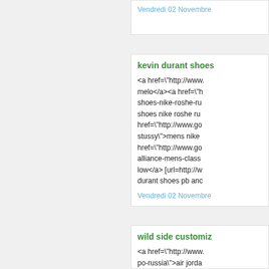Vendredi 02 Novembre
kevin durant shoes
<a href="http://www. melo</a><a href="h shoes-nike-roshe-ru shoes nike roshe ru href="http://www.go stussy">mens nike href="http://www.go alliance-mens-class low</a> [url=http://w durant shoes pb anc
Vendredi 02 Novembre
wild side customiz
<a href="http://www. po-russia">air jorda href="http://www.gr yellow-blue-black"> href="http://www.gr black">lebron soldie href="http://www.gr footwear-shoes">co [url=http://www.2sw roshe-run-size-8.5-v
Vendredi 02 Novembre